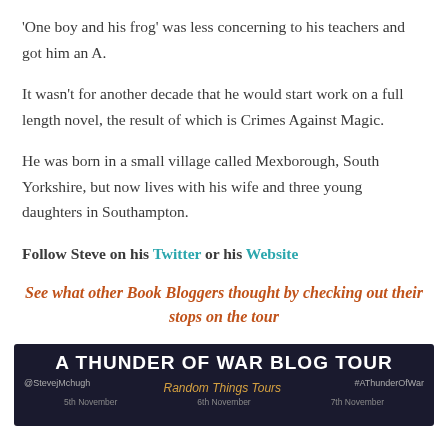'One boy and his frog' was less concerning to his teachers and got him an A.
It wasn't for another decade that he would start work on a full length novel, the result of which is Crimes Against Magic.
He was born in a small village called Mexborough, South Yorkshire, but now lives with his wife and three young daughters in Southampton.
Follow Steve on his Twitter or his Website
See what other Book Bloggers thought by checking out their stops on the tour
[Figure (infographic): A Thunder of War Blog Tour banner with dark background, showing @StevejMchugh, Random Things Tours, #AThunderOfWar, with dates 5th November, 6th November, 7th November]